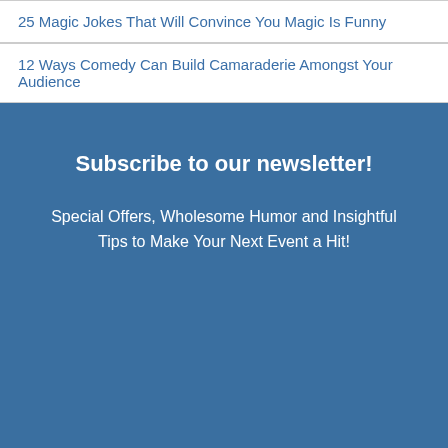25 Magic Jokes That Will Convince You Magic Is Funny
12 Ways Comedy Can Build Camaraderie Amongst Your Audience
Subscribe to our newsletter!
Special Offers, Wholesome Humor and Insightful Tips to Make Your Next Event a Hit!